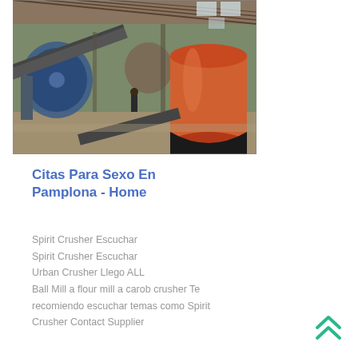[Figure (photo): Industrial interior of a factory or mill showing large orange cylindrical drum/rotary equipment, conveyor belts, and a worker in the background. Steel structure roof visible overhead.]
Citas Para Sexo En Pamplona - Home
Spirit Crusher Escuchar
Spirit Crusher Escuchar
Urban Crusher Llego ALL
Ball Mill a flour mill a carob crusher Te recomiendo escuchar temas como Spirit Crusher Contact Supplier